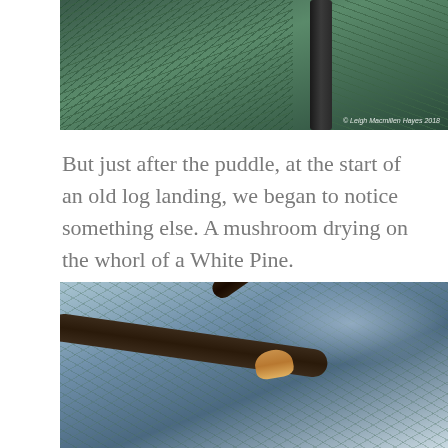[Figure (photo): Top portion of a forest photograph showing pine trees with green needles and a dark tree trunk in the background. Photo credit reads '© Leigh Macmillen Hayes 2018' in bottom right.]
But just after the puddle, at the start of an old log landing, we began to notice something else. A mushroom drying on the whorl of a White Pine.
[Figure (photo): Close-up photograph of pine tree branches (White Pine) with a mushroom drying on the whorl of a branch. The background shows pine needles and blue sky.]